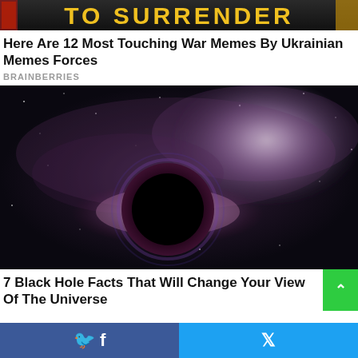[Figure (photo): Partial banner image with bold yellow text reading 'TO SURRENDER' on dark background with decorative imagery]
Here Are 12 Most Touching War Memes By Ukrainian Memes Forces
BRAINBERRIES
[Figure (photo): Artistic rendering of a black hole in space with a bright galaxy behind it, showing gravitational lensing effect and accretion disk]
7 Black Hole Facts That Will Change Your View Of The Universe
[Figure (other): Social sharing bar with Facebook and Twitter icons in blue/cyan colors]